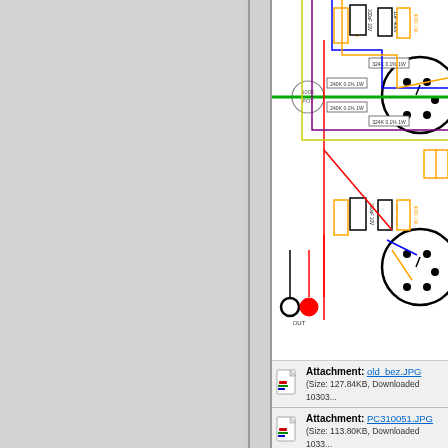[Figure (circuit-diagram): Electronic circuit schematic showing vacuum tube amplifier circuit with components including capacitors (100uF 10V, 1uF 400V), resistors (240K 0.1% 1W, 324K 0.1% 1W, 47K 1W), potentiometer (100K POT), vacuum tubes with socket connections, and colored wiring (green, red, blue, orange, purple, yellow). Output connectors labeled OUT visible at bottom. Two tube sockets shown as circles with internal connection dots.]
Attachment: old_bez.JPG (Size: 127.84KB, Downloaded 10303...
Attachment: PC310051.JPG (Size: 113.80KB, Downloaded 1033...